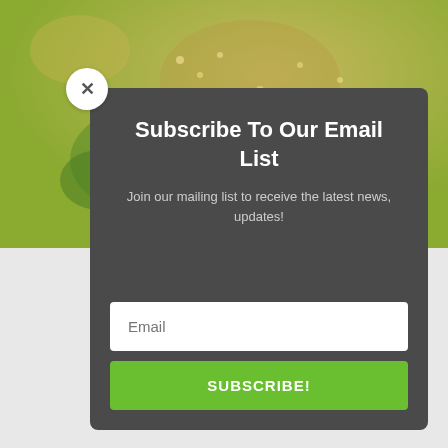[Figure (photo): Background food photo showing grains, seeds, and green vegetables]
Subscribe To Our Email List
Join our mailing list to receive the latest news, updates!
Email
SUBSCRIBE!
(Limit one per registrant)